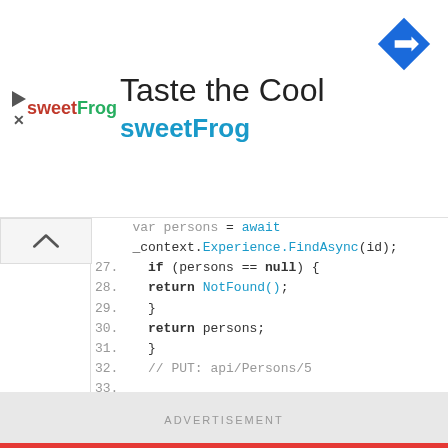[Figure (screenshot): Advertisement banner for sweetFrog with text 'Taste the Cool' and navigation arrow icon]
var persons = await
_context.Experience.FindAsync(id);
27.  if (persons == null) {
28.      return NotFound();
29.  }
30.  return persons;
31.  }
32.  // PUT: api/Persons/5
33.
34.  [HttpPut("{id}")]
35.  public async Task < IActionResult >
PutPersons(int id, Persons persons) {
36.  if (id != persons.ID) {
37.      return BadRequest();
38.  }
39.
40.  _context.Entry(persons).State =
EntityState.Modified;
41.  try {
42.  await _context.SaveChangesAsync();
43.  } catch (DbUpdateConcurrencyException) {
ADVERTISEMENT